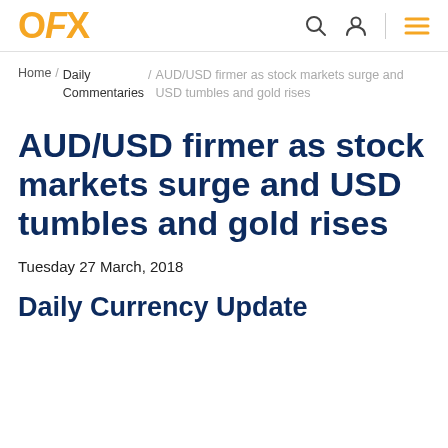OFX
Home / Daily Commentaries / AUD/USD firmer as stock markets surge and USD tumbles and gold rises
AUD/USD firmer as stock markets surge and USD tumbles and gold rises
Tuesday 27 March, 2018
Daily Currency Update